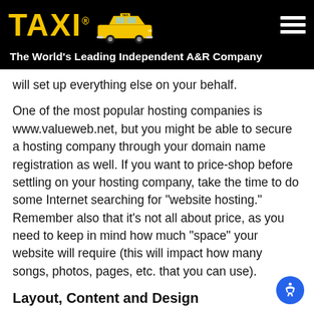[Figure (logo): TAXI logo with yellow text and taxi cab image on black background]
The World's Leading Independent A&R Company
will set up everything else on your behalf.
One of the most popular hosting companies is www.valueweb.net, but you might be able to secure a hosting company through your domain name registration as well. If you want to price-shop before settling on your hosting company, take the time to do some Internet searching for "website hosting." Remember also that it's not all about price, as you need to keep in mind how much "space" your website will require (this will impact how many songs, photos, pages, etc. that you can use).
Layout, Content and Design
Now that you have your domain name and hosting all done, it's time to move forward to the fun part — creating